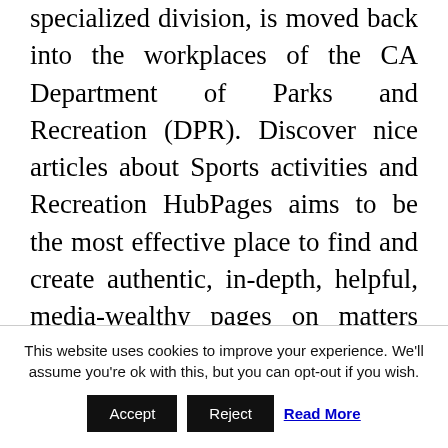specialized division, is moved back into the workplaces of the CA Department of Parks and Recreation (DPR). Discover nice articles about Sports activities and Recreation HubPages aims to be the most effective place to find and create authentic, in-depth, helpful, media-wealthy pages on matters you're enthusiastic about. For instance, in case you dive recreational and in tropics solely and just some instances a yr – absolutely you won't need expensive diving pc with superior features and hoseless air integration. NOTE:The Neighborhood Heart stays open for entry to City Council
This website uses cookies to improve your experience. We'll assume you're ok with this, but you can opt-out if you wish.